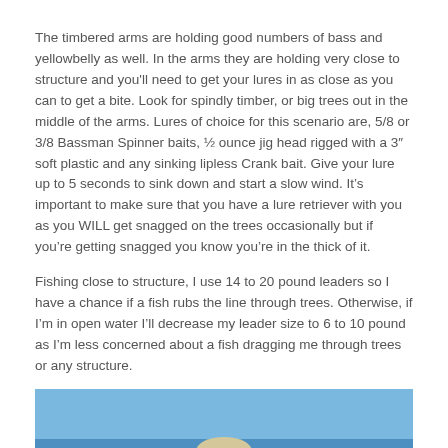The timbered arms are holding good numbers of bass and yellowbelly as well. In the arms they are holding very close to structure and you'll need to get your lures in as close as you can to get a bite. Look for spindly timber, or big trees out in the middle of the arms. Lures of choice for this scenario are, 5/8 or 3/8 Bassman Spinner baits, ½ ounce jig head rigged with a 3″ soft plastic and any sinking lipless Crank bait. Give your lure up to 5 seconds to sink down and start a slow wind. It's important to make sure that you have a lure retriever with you as you WILL get snagged on the trees occasionally but if you're getting snagged you know you're in the thick of it.
Fishing close to structure, I use 14 to 20 pound leaders so I have a chance if a fish rubs the line through trees. Otherwise, if I'm in open water I'll decrease my leader size to 6 to 10 pound as I'm less concerned about a fish dragging me through trees or any structure.
[Figure (photo): A person wearing a hat and sunglasses outdoors against a blue sky background, partially visible at bottom of page.]